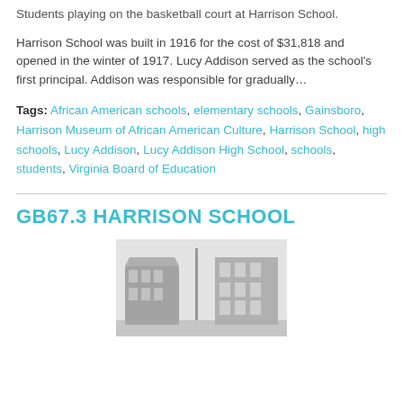Students playing on the basketball court at Harrison School.
Harrison School was built in 1916 for the cost of $31,818 and opened in the winter of 1917. Lucy Addison served as the school’s first principal. Addison was responsible for gradually…
Tags: African American schools, elementary schools, Gainsboro, Harrison Museum of African American Culture, Harrison School, high schools, Lucy Addison, Lucy Addison High School, schools, students, Virginia Board of Education
GB67.3 HARRISON SCHOOL
[Figure (photo): Old black and white photograph of Harrison School building exterior, appearing foggy or misty.]